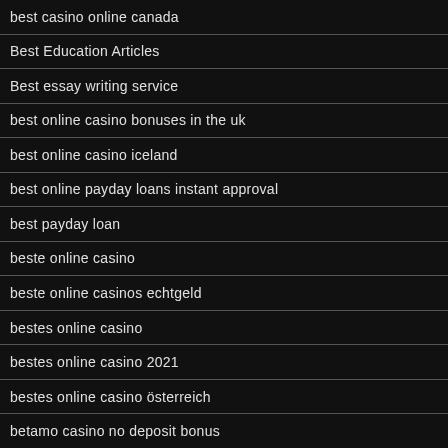best casino online canada
Best Education Articles
Best essay writing service
best online casino bonuses in the uk
best online casino iceland
best online payday loans instant approval
best payday loan
beste online casino
beste online casinos echtgeld
bestes online casino
bestes online casino 2021
bestes online casino österreich
betamo casino no deposit bonus